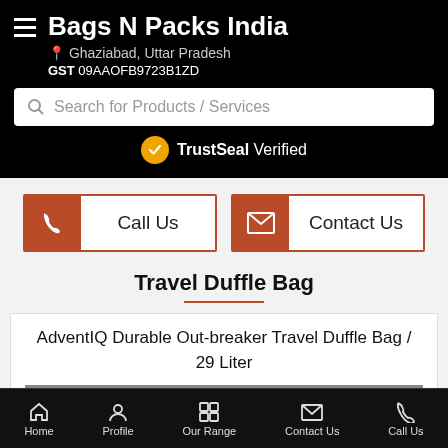Bags N Packs India — Ghaziabad, Uttar Pradesh — GST 09AAOFB9723B1ZD
Search for Products / Services
TrustSeal Verified
Call Us
Contact Us
Travel Duffle Bag
AdventIQ Durable Out-breaker Travel Duffle Bag / 29 Liter
Home   Profile   Our Range   Contact Us   Call Us